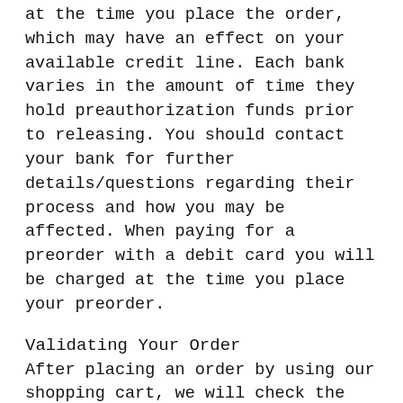at the time you place the order, which may have an effect on your available credit line. Each bank varies in the amount of time they hold preauthorization funds prior to releasing. You should contact your bank for further details/questions regarding their process and how you may be affected. When paying for a preorder with a debit card you will be charged at the time you place your preorder.
Validating Your Order
After placing an order by using our shopping cart, we will check the information you provide us for validity, by verifying your method of payment, shipping address, etc. We reserve the right to reject any order you place with us, and/or to limit quantities on any order without giving any reason. If we reject your order, we will attempt to notify you using the e-mail address you have provided with the order.